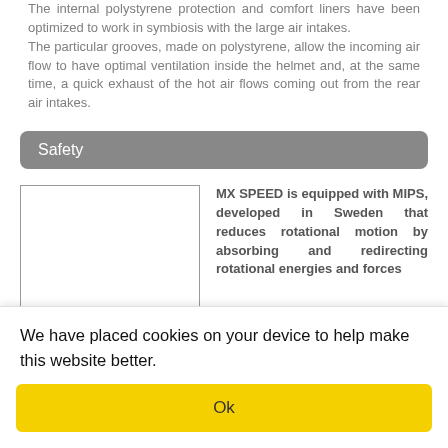The internal polystyrene protection and comfort liners have been optimized to work in symbiosis with the large air intakes. The particular grooves, made on polystyrene, allow the incoming air flow to have optimal ventilation inside the helmet and, at the same time, a quick exhaust of the hot air flows coming out from the rear air intakes.
Safety
[Figure (photo): Image placeholder rectangle (white box with border) for MIPS helmet photo]
MX SPEED is equipped with MIPS, developed in Sweden that reduces rotational motion by absorbing and redirecting rotational energies and forces transferred to the brain from angled impacts to the head.
We have placed cookies on your device to help make this website better.
Ok